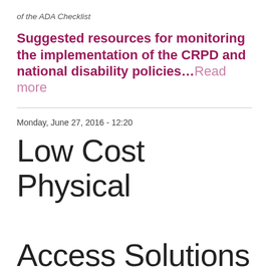of the ADA Checklist
Suggested resources for monitoring the implementation of the CRPD and national disability policies…Read more
Monday, June 27, 2016 - 12:20
Low Cost Physical Access Solutions for Schools